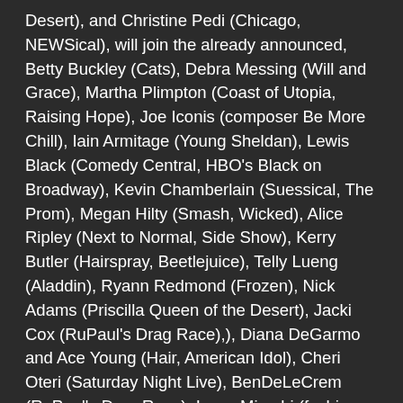Desert), and Christine Pedi (Chicago, NEWSical), will join the already announced, Betty Buckley (Cats), Debra Messing (Will and Grace), Martha Plimpton (Coast of Utopia, Raising Hope), Joe Iconis (composer Be More Chill), Iain Armitage (Young Sheldan), Lewis Black (Comedy Central, HBO's Black on Broadway), Kevin Chamberlain (Suessical, The Prom), Megan Hilty (Smash, Wicked), Alice Ripley (Next to Normal, Side Show), Kerry Butler (Hairspray, Beetlejuice), Telly Lueng (Aladdin), Ryann Redmond (Frozen), Nick Adams (Priscilla Queen of the Desert), Jacki Cox (RuPaul's Drag Race),), Diana DeGarmo and Ace Young (Hair, American Idol), Cheri Oteri (Saturday Night Live), BenDeLeCrem (RuPaul's Drag Race), Isaac Mizrahi (fashion designer), Perez Hilton (Celebrity Blogger, NEWSical), David Eigenberg (Sex and the City), Dylan Baker (Happiness, Road to Perdition), Warren Leight (Tony winning playwright, Side Man), plus many more to be